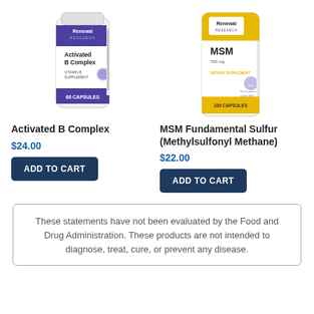[Figure (photo): Photo of Renewal Research Activated B Complex supplement bottle, white with purple label, 60 capsules]
Activated B Complex
$24.00
[Figure (photo): Photo of Renewal Research MSM 750mg supplement bottle, white with yellow and dark blue label, 100 capsules]
MSM Fundamental Sulfur (Methylsulfonyl Methane)
$22.00
These statements have not been evaluated by the Food and Drug Administration. These products are not intended to diagnose, treat, cure, or prevent any disease.